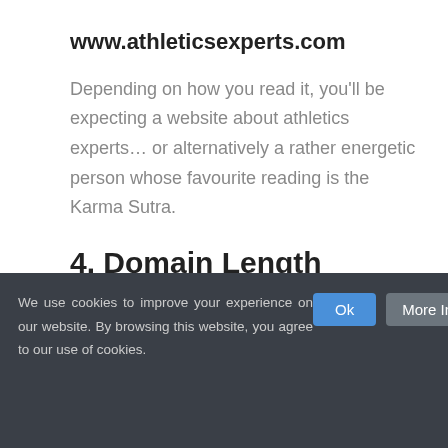www.athleticsexperts.com
Depending on how you read it, you'll be expecting a website about athletics experts… or alternatively a rather energetic person whose favourite reading is the Karma Sutra.
4. Domain Length
This links into the memorability factor – a shorter domain name is easier to
We use cookies to improve your experience on our website. By browsing this website, you agree to our use of cookies.